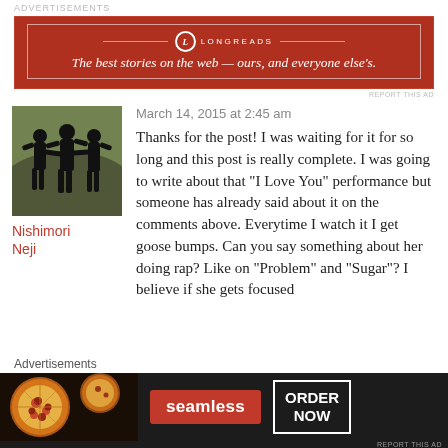ADVERTISEMENTS
[Figure (infographic): Longreads advertisement banner: red background with white border, Longreads logo and tagline 'The best stories on the web — ours, and everyone else's.']
REPORT THIS AD
[Figure (photo): Avatar image: silhouettes of three women/girls on a grey/olive background]
Nishimori Neji
March 14, 2015 at 2:45 am
Thanks for the post! I was waiting for it for so long and this post is really complete. I was going to write about that “I Love You” performance but someone has already said about it on the comments above. Everytime I watch it I get goose bumps. Can you say something about her doing rap? Like on “Problem” and “Sugar”? I believe if she gets focused
Advertisements
[Figure (infographic): Seamless food ordering advertisement: dark background with pizza image on left, red Seamless badge in center, white-bordered ORDER NOW box on right]